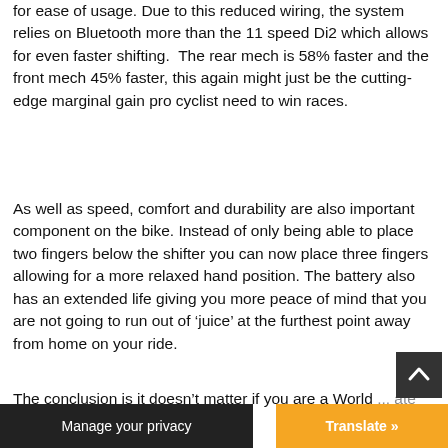for ease of usage. Due to this reduced wiring, the system relies on Bluetooth more than the 11 speed Di2 which allows for even faster shifting.  The rear mech is 58% faster and the front mech 45% faster, this again might just be the cutting-edge marginal gain pro cyclist need to win races.
As well as speed, comfort and durability are also important component on the bike. Instead of only being able to place two fingers below the shifter you can now place three fingers allowing for a more relaxed hand position. The battery also has an extended life giving you more peace of mind that you are not going to run out of ‘juice’ at the furthest point away from home on your ride.
The conclusion is it doesn’t matter if you are a World ... ate we...
Manage your privacy
Translate »